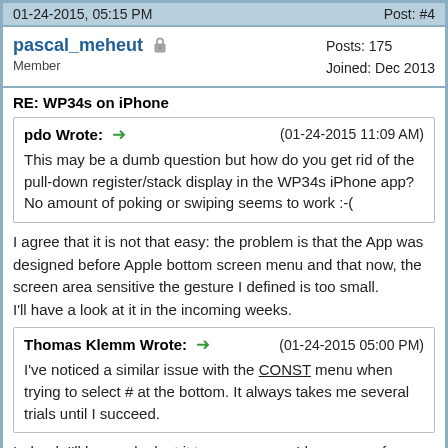01-24-2015, 05:15 PM    Post: #4
pascal_meheut  Member    Posts: 175  Joined: Dec 2013
RE: WP34s on iPhone
pdo Wrote:  (01-24-2015 11:09 AM)
This may be a dumb question but how do you get rid of the pull-down register/stack display in the WP34s iPhone app? No amount of poking or swiping seems to work :-(
I agree that it is not that easy: the problem is that the App was designed before Apple bottom screen menu and that now, the screen area sensitive the gesture I defined is too small.
I'll have a look at it in the incoming weeks.
Thomas Klemm Wrote:  (01-24-2015 05:00 PM)
I've noticed a similar issue with the CONST menu when trying to select # at the bottom. It always takes me several trials until I succeed.
Indeed. I'll have a look at it too as soon as I have some free time. Don't hold your breath.